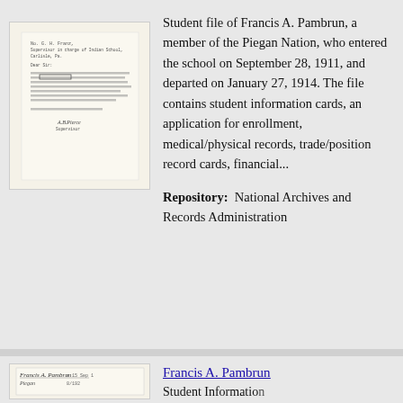[Figure (photo): Thumbnail image of a typed letter document, aged paper, with text blocks and a signature at the bottom]
Student file of Francis A. Pambrun, a member of the Piegan Nation, who entered the school on September 28, 1911, and departed on January 27, 1914. The file contains student information cards, an application for enrollment, medical/physical records, trade/position record cards, financial...
Repository:  National Archives and Records Administration
[Figure (photo): Thumbnail image of a handwritten student information card with name 'Francis A. Pambrun' and 'Piegan' visible]
Francis A. Pambrun
Student Information